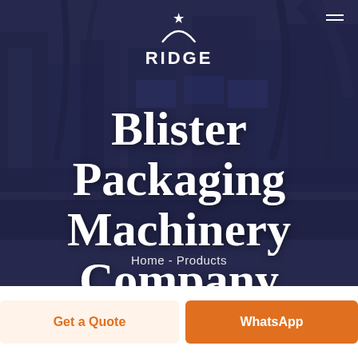[Figure (photo): Hero background showing industrial blister packaging machinery in a dark blue overlay. Ridge company logo with star/crescent icon at top center. Hamburger menu icon at top right.]
Blister Packaging Machinery Company Limited
Home - Products
Get a Quote
WhatsApp